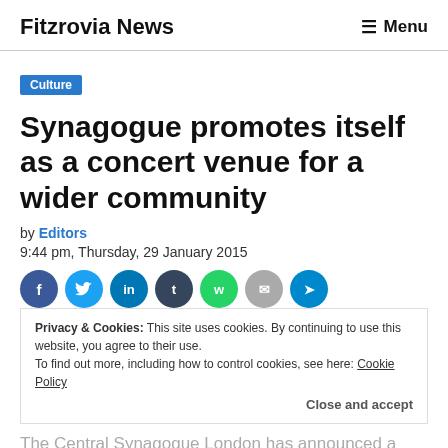Fitzrovia News  ☰ Menu
Culture
Synagogue promotes itself as a concert venue for a wider community
by Editors
9:44 pm, Thursday, 29 January 2015
[Figure (other): Social share icons: Facebook, Twitter, LinkedIn, Tumblr, WhatsApp, Email, Telegram]
Privacy & Cookies: This site uses cookies. By continuing to use this website, you agree to their use.
To find out more, including how to control cookies, see here: Cookie Policy
Close and accept
The Central Synagogue London has announced a series of classical music concerts arranged around the theme of...